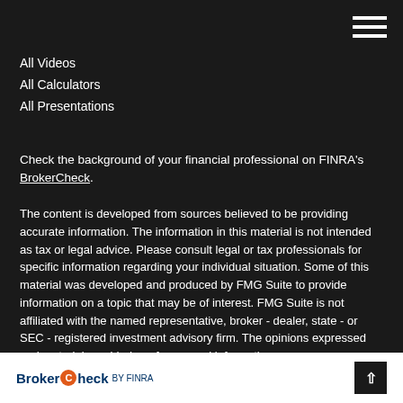[Figure (other): Hamburger menu icon (three horizontal white lines) in top right corner]
All Videos
All Calculators
All Presentations
Check the background of your financial professional on FINRA's BrokerCheck.
The content is developed from sources believed to be providing accurate information. The information in this material is not intended as tax or legal advice. Please consult legal or tax professionals for specific information regarding your individual situation. Some of this material was developed and produced by FMG Suite to provide information on a topic that may be of interest. FMG Suite is not affiliated with the named representative, broker - dealer, state - or SEC - registered investment advisory firm. The opinions expressed and material provided are for general information
[Figure (logo): BrokerCheck by FINRA banner at bottom of page with up-arrow button]